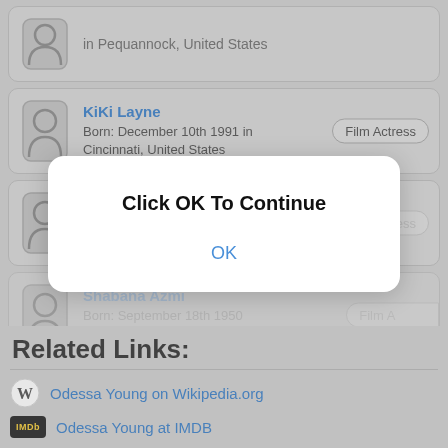in Pequannock, United States
KiKi Layne
Born: December 10th 1991 in Cincinnati, United States
Film Actress
Betsy Joslyn
Born: April 19th 1954 in Staten Island, United States
Film Actress
Shabana Azmi
Born: September 18th 1950 in Hyderabad, India
Film Actress
[Figure (other): Modal dialog with text 'Click OK To Continue' and an OK button]
Related Links:
Odessa Young on Wikipedia.org
Odessa Young at IMDB